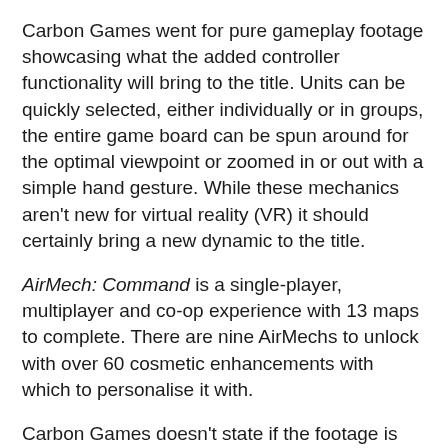Carbon Games went for pure gameplay footage showcasing what the added controller functionality will bring to the title. Units can be quickly selected, either individually or in groups, the entire game board can be spun around for the optimal viewpoint or zoomed in or out with a simple hand gesture. While these mechanics aren't new for virtual reality (VR) it should certainly bring a new dynamic to the title.
AirMech: Command is a single-player, multiplayer and co-op experience with 13 maps to complete. There are nine AirMechs to unlock with over 60 cosmetic enhancements with which to personalise it with.
Carbon Games doesn't state if the footage is from the HTC Vive or from the Oculus Touch build but as VRFocus continues its coverage of AirMech: Command, we'll report back with any further updates.